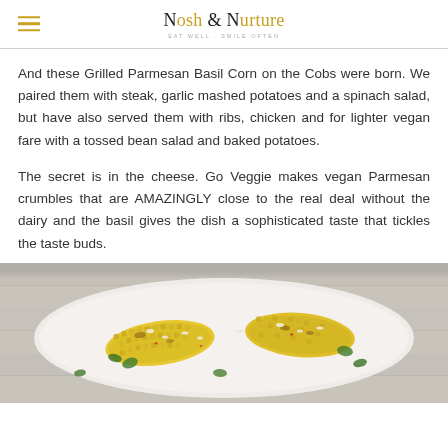Nosh & Nurture
And these Grilled Parmesan Basil Corn on the Cobs were born. We paired them with steak, garlic mashed potatoes and a spinach salad, but have also served them with ribs, chicken and for lighter vegan fare with a tossed bean salad and baked potatoes.
The secret is in the cheese. Go Veggie makes vegan Parmesan crumbles that are AMAZINGLY close to the real deal without the dairy and the basil gives the dish a sophisticated taste that tickles the taste buds.
[Figure (photo): Close-up photo of grilled corn on the cob with parmesan and basil toppings in a white dish, with herbs scattered around]